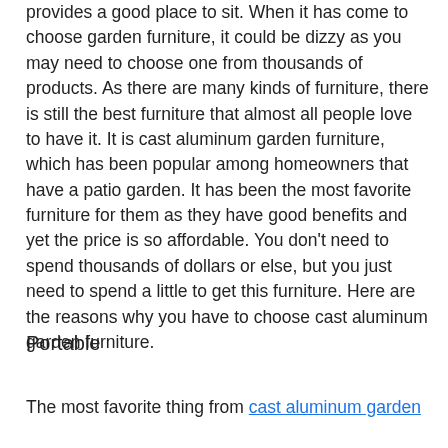provides a good place to sit. When it has come to choose garden furniture, it could be dizzy as you may need to choose one from thousands of products. As there are many kinds of furniture, there is still the best furniture that almost all people love to have it. It is cast aluminum garden furniture, which has been popular among homeowners that have a patio garden. It has been the most favorite furniture for them as they have good benefits and yet the price is so affordable. You don't need to spend thousands of dollars or else, but you just need to spend a little to get this furniture. Here are the reasons why you have to choose cast aluminum garden furniture.
Portable
The most favorite thing from cast aluminum garden